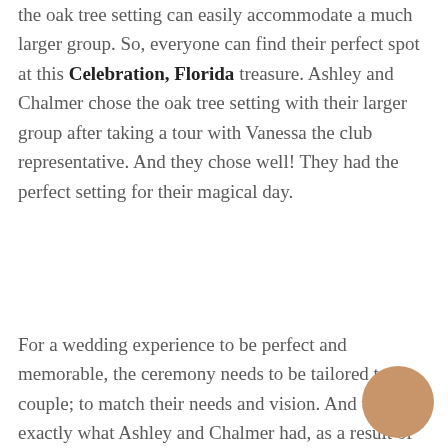the oak tree setting can easily accommodate a much larger group. So, everyone can find their perfect spot at this Celebration, Florida treasure. Ashley and Chalmer chose the oak tree setting with their larger group after taking a tour with Vanessa the club representative. And they chose well! They had the perfect setting for their magical day.
For a wedding experience to be perfect and memorable, the ceremony needs to be tailored to the couple; to match their needs and vision. And that is exactly what Ashley and Chalmer had, as a result of working with Lon Tosi, an officiant with the Orlando, Florida team of wedding officiants from